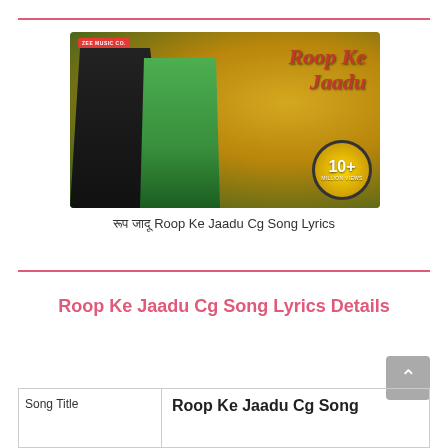[Figure (photo): Thumbnail image for 'Roop Ke Jaadu Cg Song' showing a couple, a man in black and a woman in green, with the title text 'Roop Ke Jaadu' and a badge reading '10+ MILLION VIEWS']
रूप जादू Roop Ke Jaadu Cg Song Lyrics
Roop Ke Jaadu Cg Song Lyrics Details
| Song Title |  |
| --- | --- |
| Song Title | Roop Ke Jaadu Cg Song |